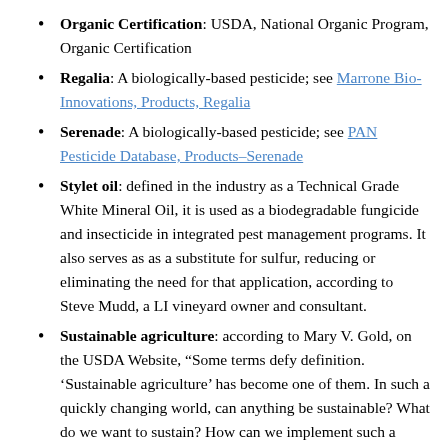Organic Certification: USDA, National Organic Program, Organic Certification
Regalia: A biologically-based pesticide; see Marrone Bio-Innovations, Products, Regalia
Serenade: A biologically-based pesticide; see PAN Pesticide Database, Products–Serenade
Stylet oil: defined in the industry as a Technical Grade White Mineral Oil, it is used as a biodegradable fungicide and insecticide in integrated pest management programs. It also serves as as a substitute for sulfur, reducing or eliminating the need for that application, according to Steve Mudd, a LI vineyard owner and consultant.
Sustainable agriculture: according to Mary V. Gold, on the USDA Website, “Some terms defy definition. ‘Sustainable agriculture’ has become one of them. In such a quickly changing world, can anything be sustainable? What do we want to sustain? How can we implement such a nebulous goal?... If nothing else, the